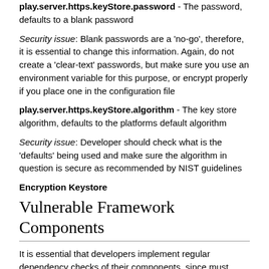play.server.https.keyStore.password - The password, defaults to a blank password
Security issue: Blank passwords are a 'no-go', therefore, it is essential to change this information. Again, do not create a 'clear-text' passwords, but make sure you use an environment variable for this purpose, or encrypt properly if you place one in the configuration file
play.server.https.keyStore.algorithm - The key store algorithm, defaults to the platforms default algorithm
Security issue: Developer should check what is the 'defaults' being used and make sure the algorithm in question is secure as recommended by NIST guidelines
Encryption Keystore
Vulnerable Framework Components
It is essential that developers implement regular dependency checks of their components, since must Scala projects will make use of the above mentioned frameworks